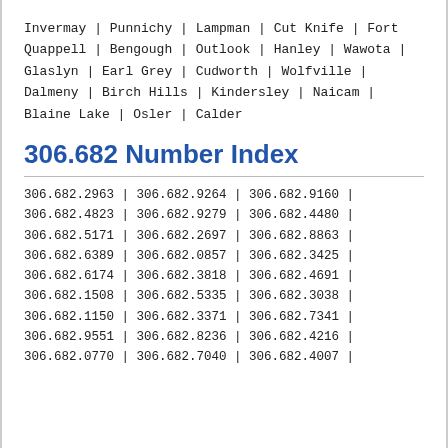Invermay | Punnichy | Lampman | Cut Knife | Fort Quappell | Bengough | Outlook | Hanley | Wawota | Glaslyn | Earl Grey | Cudworth | Wolfville | Dalmeny | Birch Hills | Kindersley | Naicam | Blaine Lake | Osler | Calder
306.682 Number Index
306.682.2963 | 306.682.9264 | 306.682.9160 | 306.682.4823 | 306.682.9279 | 306.682.4480 | 306.682.5171 | 306.682.2697 | 306.682.8863 | 306.682.6389 | 306.682.0857 | 306.682.3425 | 306.682.6174 | 306.682.3818 | 306.682.4691 | 306.682.1508 | 306.682.5335 | 306.682.3038 | 306.682.1150 | 306.682.3371 | 306.682.7341 | 306.682.9551 | 306.682.8236 | 306.682.4216 | 306.682.0770 | 306.682.7040 | 306.682.4007 |